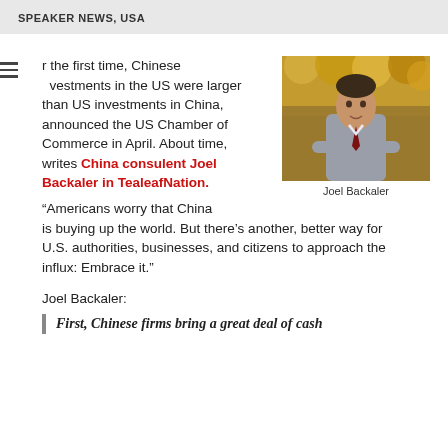SPEAKER NEWS, USA
or the first time, Chinese investments in the US were larger than US investments in China, announced the US Chamber of Commerce in April. About time, writes China consulent Joel Backaler in TealeafNation. “Americans worry that China is buying up the world. But there’s another, better way for U.S. authorities, businesses, and citizens to approach the influx: Embrace it.”
[Figure (photo): Portrait photo of Joel Backaler, a man in a grey suit with arms crossed, outdoor background with autumn foliage]
Joel Backaler
Joel Backaler:
First, Chinese firms bring a great deal of cash